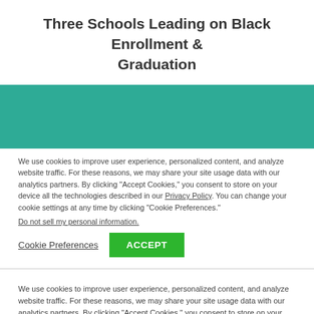Three Schools Leading on Black Enrollment & Graduation
| School | Black First-Time Undergraduate | Black Graduation Rate Trend | Number of Years Black Graduation Rate Matched |
| --- | --- | --- | --- |
We use cookies to improve user experience, personalized content, and analyze website traffic. For these reasons, we may share your site usage data with our analytics partners. By clicking “Accept Cookies,” you consent to store on your device all the technologies described in our Privacy Policy. You can change your cookie settings at any time by clicking “Cookie Preferences.”
Do not sell my personal information.
Cookie Preferences   ACCEPT